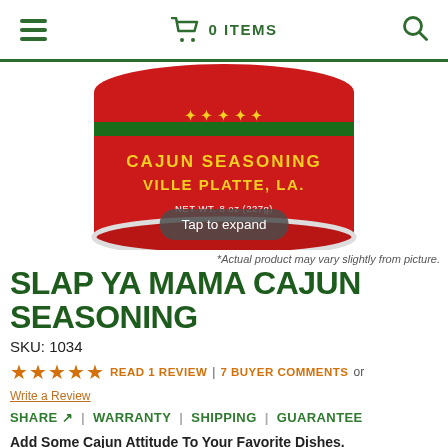0 ITEMS
[Figure (photo): Red cylindrical can of Slap Ya Mama Cajun Seasoning from Ville Platte, LA, NET WT. 8 oz (227g), partially cropped at top of frame with a 'Tap to expand' pill overlay]
*Actual product may vary slightly from picture.
SLAP YA MAMA CAJUN SEASONING
SKU: 1034
★★★★★  READ 1 REVIEW  |  7 BUYER COMMENTS  or  Write a Review
SHARE  |  WARRANTY  |  SHIPPING  |  GUARANTEE
Add Some Cajun Attitude To Your Favorite Dishes.
Some like it HOT! We like it HOTTER!